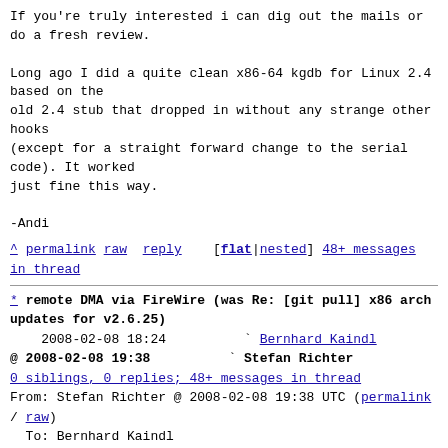If you're truly interested i can dig out the mails or do a fresh review.

Long ago I did a quite clean x86-64 kgdb for Linux 2.4 based on the
old 2.4 stub that dropped in without any strange other hooks
(except for a straight forward change to the serial code). It worked
just fine this way.

-Andi
^ permalink  raw  reply    [flat|nested]  48+ messages in thread
* remote DMA via FireWire (was Re: [git pull] x86 arch updates for v2.6.25)
2008-02-08 18:24          ` Bernhard Kaindl
@ 2008-02-08 19:38          ` Stefan Richter
0 siblings, 0 replies; 48+ messages in thread
From: Stefan Richter @ 2008-02-08 19:38 UTC (permalink / raw)
  To: Bernhard Kaindl
  Cc: H. Peter Anvin, John Stoffel, Linus Torvalds, Maxim Levitsky,
        Ingo Molnar, linux-kernel, Andrew Morton,
Thomas Gleixner